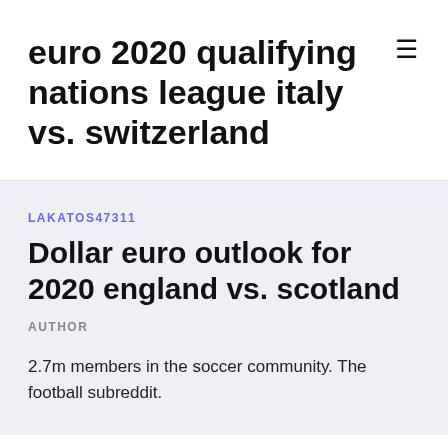euro 2020 qualifying nations league italy vs. switzerland
LAKATOS47311
Dollar euro outlook for 2020 england vs. scotland
AUTHOR
2.7m members in the soccer community. The football subreddit.